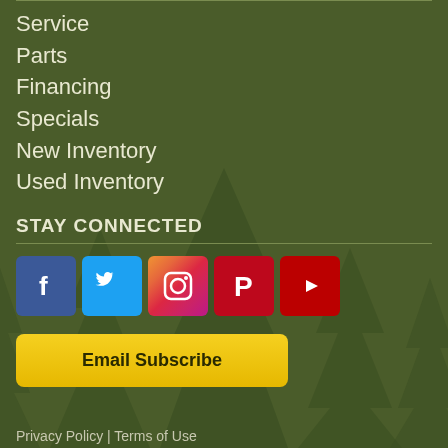Service
Parts
Financing
Specials
New Inventory
Used Inventory
STAY CONNECTED
[Figure (infographic): Row of 5 social media icon buttons: Facebook (blue), Twitter (light blue), Instagram (gradient pink/purple), Pinterest (red), YouTube (dark red)]
Email Subscribe
Privacy Policy | Terms of Use